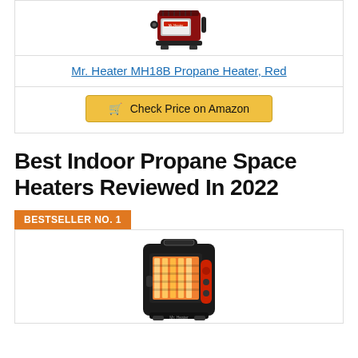[Figure (photo): Mr. Heater MH18B propane heater product image (red/black portable heater) in a product listing card]
Mr. Heater MH18B Propane Heater, Red
Check Price on Amazon
Best Indoor Propane Space Heaters Reviewed In 2022
BESTSELLER NO. 1
[Figure (photo): Indoor propane space heater (black and red portable radiant heater with glowing orange heating element) - Bestseller No. 1 product image]